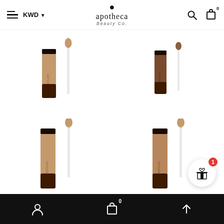apotheca Beauty Co. — KWD navigation header with search and cart icons
[Figure (photo): Four product images of concealer tubes with applicators shown in a 2x2 grid. Top-left: medium-tan concealer. Top-right: deep brown concealer. Bottom-left: medium-tan concealer (larger view). Bottom-right: medium-warm concealer (larger view, partially shown).]
[Figure (infographic): Gift icon bubble with red badge showing number 1, positioned over the product grid at bottom-right.]
Bottom navigation bar with account, bag (0 items), and scroll-to-top icons